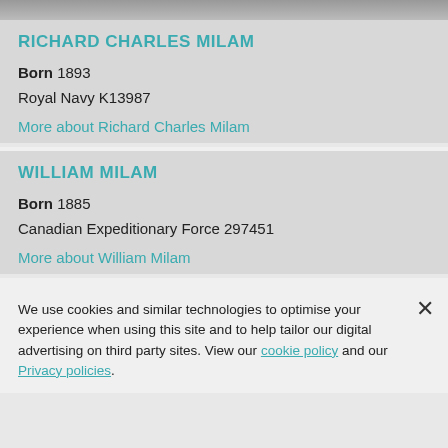[Figure (photo): Partial photo strip at top of page]
RICHARD CHARLES MILAM
Born 1893
Royal Navy K13987
More about Richard Charles Milam
WILLIAM MILAM
Born 1885
Canadian Expeditionary Force 297451
More about William Milam
We use cookies and similar technologies to optimise your experience when using this site and to help tailor our digital advertising on third party sites. View our cookie policy and our Privacy policies.